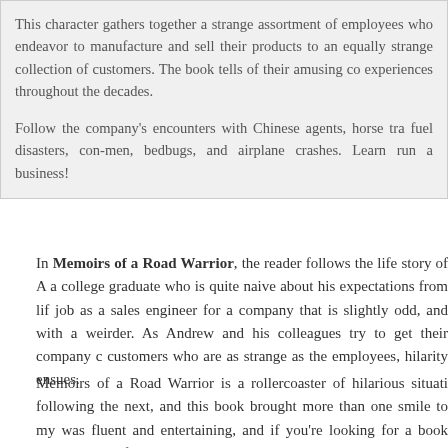This character gathers together a strange assortment of employees who endeavor to manufacture and sell their products to an equally strange collection of customers. The book tells of their amusing co experiences throughout the decades.

Follow the company's encounters with Chinese agents, horse tra fuel disasters, con-men, bedbugs, and airplane crashes. Learn run a business!
In Memoirs of a Road Warrior, the reader follows the life story of A a college graduate who is quite naive about his expectations from lif job as a sales engineer for a company that is slightly odd, and with a weirder. As Andrew and his colleagues try to get their company c customers who are as strange as the employees, hilarity ensues.
Memoirs of a Road Warrior is a rollercoaster of hilarious situati following the next, and this book brought more than one smile to my was fluent and entertaining, and if you're looking for a book that'll ma is definitely it.